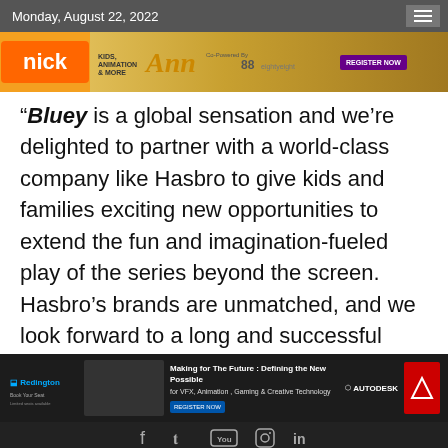Monday, August 22, 2022
[Figure (photo): Advertisement banner: Nick, Kids Animation & More, Ann Awards, Co-Powered By eightyeight, Register Now]
“Bluey is a global sensation and we’re delighted to partner with a world-class company like Hasbro to give kids and families exciting new opportunities to extend the fun and imagination-fueled play of the series beyond the screen. Hasbro’s brands are unmatched, and we look forward to a long and successful partnership that
[Figure (photo): Advertisement banner: Redington, Making for The Future: Defining the New Possible for VFX, Animation, Gaming & Creative Technology, Autodesk]
Copyright © 2022 AnimationXpress  AnimationXpress| All rights reserved.